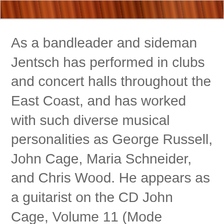[Figure (photo): Partial photo strip at top of page showing warm reddish-orange tones, appears to be a cropped image of a person or performer]
As a bandleader and sideman Jentsch has performed in clubs and concert halls throughout the East Coast, and has worked with such diverse musical personalities as George Russell, John Cage, Maria Schneider, and Chris Wood. He appears as a guitarist on the CD John Cage, Volume 11 (Mode Records 41). He is also featured in Scott Yanow's book The Great Jazz Guitarists (2013 Hal Leonard). Jentsch has released four CDs as a leader.